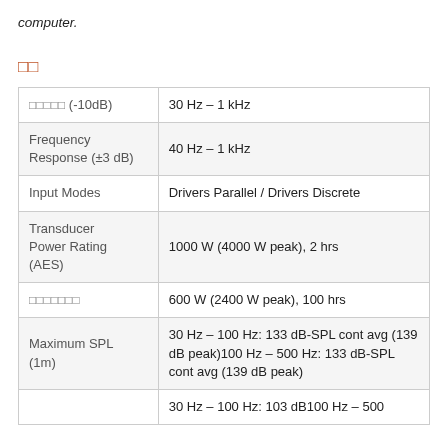computer.
□□
| Parameter | Value |
| --- | --- |
| □□□□□ (-10dB) | 30 Hz – 1 kHz |
| Frequency Response (±3 dB) | 40 Hz – 1 kHz |
| Input Modes | Drivers Parallel / Drivers Discrete |
| Transducer Power Rating (AES) | 1000 W (4000 W peak), 2 hrs |
| □□□□□□□ | 600 W (2400 W peak), 100 hrs |
| Maximum SPL (1m) | 30 Hz – 100 Hz: 133 dB-SPL cont avg (139 dB peak)100 Hz – 500 Hz: 133 dB-SPL cont avg (139 dB peak) |
|  | 30 Hz – 100 Hz: 103 dB100 Hz – 500 |